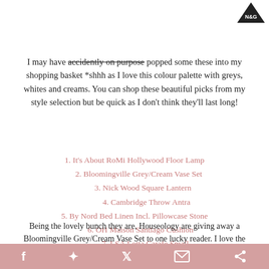[Figure (logo): Black triangle logo with 'N&G' text inside]
I may have accidently on purpose popped some these into my shopping basket *shhh as I love this colour palette with greys, whites and creams. You can shop these beautiful picks from my style selection but be quick as I don't think they'll last long!
1. It's About RoMi Hollywood Floor Lamp
2. Bloomingville Grey/Cream Vase Set
3. Nick Wood Square Lantern
4. Cambridge Throw Antra
5. By Nord Bed Linen Incl. Pillowcase Stone
6. OH Maison Santiago Cushion
7. LSA Lotta Carafe Small
8. Tonfisk Warm Gift Set
9. Sabre Number 1 Dinner Plate
Being the lovely bunch they are, Houseology are giving away a Bloomingville Grey/Cream Vase Set to one lucky reader. I love the complimentary tones of these pale vases, they would look stylish in any home and the perfect centrepiece to any table. All you need to do is enter
Social share bar: Facebook, Pinterest, Twitter, Email, More